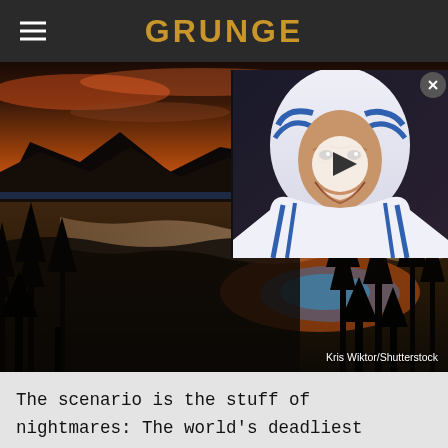GRUNGE
[Figure (photo): Aerial landscape photo of Yellowstone National Park at sunset with a river winding through valleys, trees in foreground, colorful thermal pools visible, overlaid with a video thumbnail of Mother Teresa smiling in her blue-trimmed white habit with a play button overlay. Credit: Kris Wiktor/Shutterstock]
Kris Wiktor/Shutterstock
The scenario is the stuff of nightmares: The world's deadliest natural disaster is lying in wait under our feet, and no one has any way to stop it. But back in 2014, reports emerged that the U.S. government had been